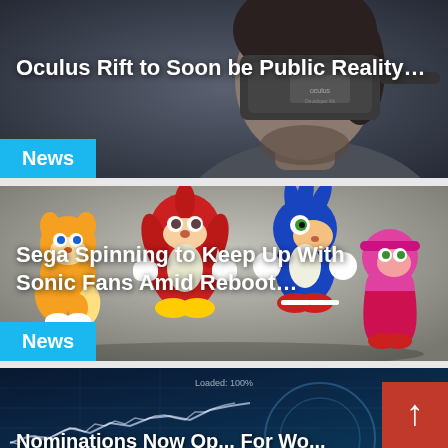[Figure (photo): Man wearing Oculus Rift VR headset against dark background]
Oculus Rift to Soon be Public Reality…
News
[Figure (illustration): Sonic the Hedgehog characters: Tails, Knuckles, Sonic, and Amy Rose on grey background]
Sega Spinning to Keep Up With Sonic Fans Amid Reboot…
News
[Figure (screenshot): Blue tech background with chart line and circular UI element, partially visible article]
Nominations Now Op... For Wo...